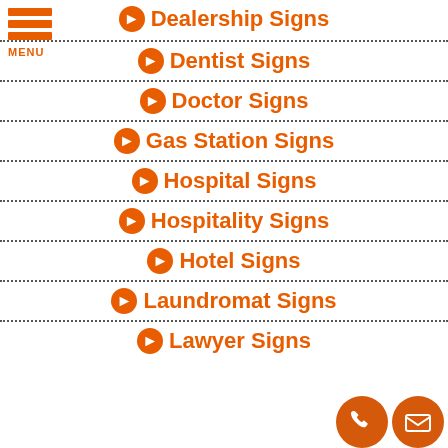Dealership Signs
Dentist Signs
Doctor Signs
Gas Station Signs
Hospital Signs
Hospitality Signs
Hotel Signs
Laundromat Signs
Lawyer Signs